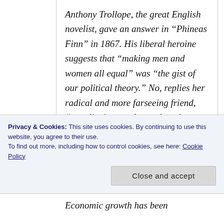Anthony Trollope, the great English novelist, gave an answer in “Phineas Finn” in 1867. His liberal heroine suggests that “making men and women all equal” was “the gist of our political theory.” No, replies her radical and more farseeing friend, “equality is an ugly word, and frightens.” A good person, he declares, should rather “assist in
Privacy & Cookies: This site uses cookies. By continuing to use this website, you agree to their use.
To find out more, including how to control cookies, see here: Cookie Policy
Economic growth has been